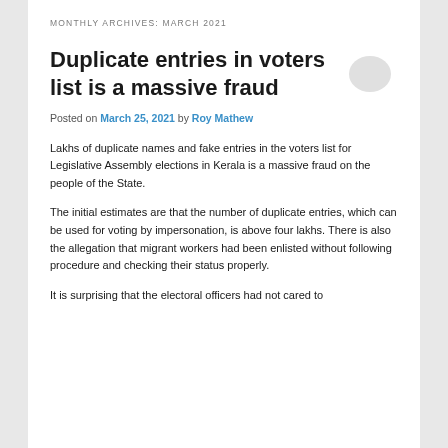MONTHLY ARCHIVES: MARCH 2021
Duplicate entries in voters list is a massive fraud
Posted on March 25, 2021 by Roy Mathew
Lakhs of duplicate names and fake entries in the voters list for Legislative Assembly elections in Kerala is a massive fraud on the people of the State.
The initial estimates are that the number of duplicate entries, which can be used for voting by impersonation, is above four lakhs. There is also the allegation that migrant workers had been enlisted without following procedure and checking their status properly.
It is surprising that the electoral officers had not cared to